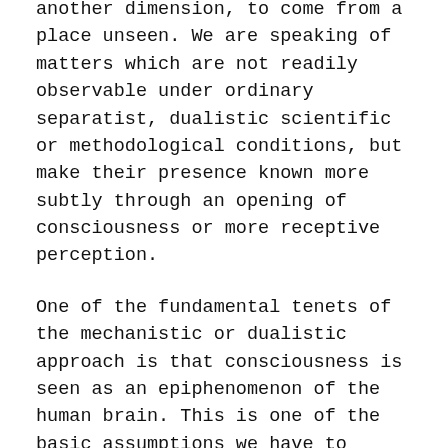another dimension, to come from a place unseen. We are speaking of matters which are not readily observable under ordinary separatist, dualistic scientific or methodological conditions, but make their presence known more subtly through an opening of consciousness or more receptive perception.
One of the fundamental tenets of the mechanistic or dualistic approach is that consciousness is seen as an epiphenomenon of the human brain. This is one of the basic assumptions we have to challenge if we are going to be able to study the subtle realms, which not only involve consciousness itself but the relationship of consciousness to the material world. We have to consider the possibility that consciousness — spirit, self, soul — all have a life, an existence, separate from the physical body. That, for me, was once a very great leap, and I had to do my own self-exploration through